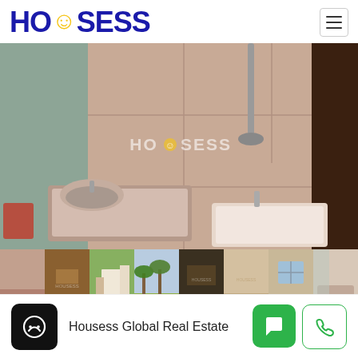[Figure (logo): HOUSESS logo with smiley face replacing letter O, dark blue text]
[Figure (photo): Bathroom interior photo showing a bathtub, shower, tiled walls in beige/brown tones, with HOUSESS watermark overlay]
[Figure (photo): Row of 8 thumbnail photos showing various property views including bathroom, rooms, outdoor building views, and courtyard]
Housess Global Real Estate
[Figure (illustration): Chat/message icon button in green]
[Figure (illustration): Phone call icon button with green border]